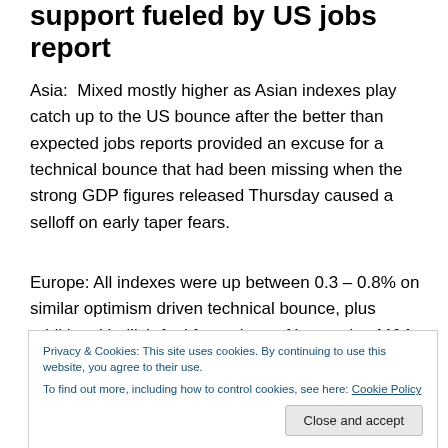support fueled by US jobs report
Asia:  Mixed mostly higher as Asian indexes play catch up to the US bounce after the better than expected jobs reports provided an excuse for a technical bounce that had been missing when the strong GDP figures released Thursday caused a selloff on early taper fears.
Europe: All indexes were up between 0.3 – 0.8% on similar optimism driven technical bounce, plus additional bullish fuel from signs of increasing M&A activity after two
Privacy & Cookies: This site uses cookies. By continuing to use this website, you agree to their use.
To find out more, including how to control cookies, see here: Cookie Policy
week's GDP and jobs data were positive surprises,